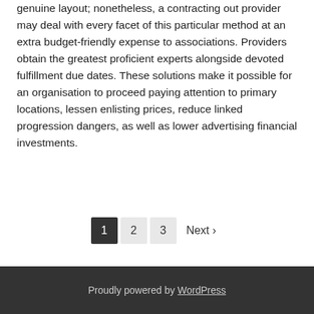production of a site or even system as opposed to the genuine layout; nonetheless, a contracting out provider may deal with every facet of this particular method at an extra budget-friendly expense to associations. Providers obtain the greatest proficient experts alongside devoted fulfillment due dates. These solutions make it possible for an organisation to proceed paying attention to primary locations, lessen enlisting prices, reduce linked progression dangers, as well as lower advertising financial investments.
1 2 3 Next ›
Proudly powered by WordPress